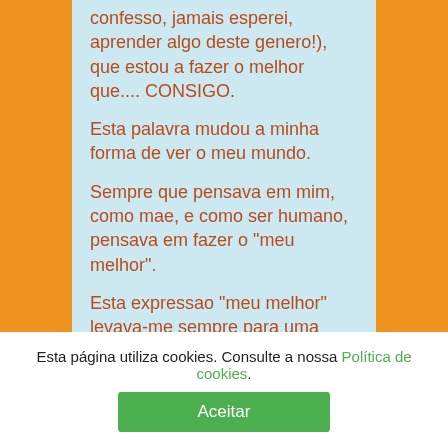confesso, jamais esperei, aprender algo deste genero!), que estou a fazer o melhor que.... CONSIGO.
Esta palavra mudou a minha forma de ver o meu mundo.
Sempre que pensava em mim, como mae, e como ser humano, pensava em fazer o "meu melhor".
Esta expressao "meu melhor" levava-me sempre para uma dimensao de excelencia.
Esta página utiliza cookies. Consulte a nossa Política de cookies.
Aceitar